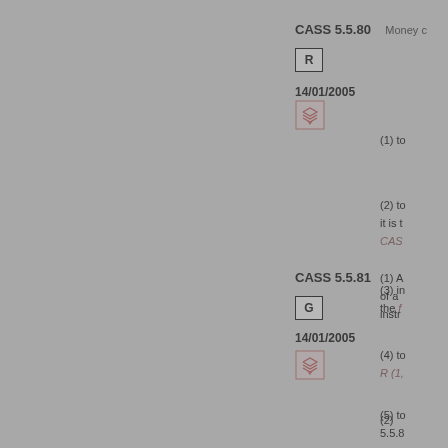CASS 5.5.80
R
14/01/2005
[Figure (other): Stacked layers icon in a box]
(1) to
(2) to it is t
CAS
(3) in the f
(4) to R (1,
(5) to 5.5.8
CASS 5.5.81
G
14/01/2005
[Figure (other): Stacked layers icon in a box]
(1) A of a instr
(2)